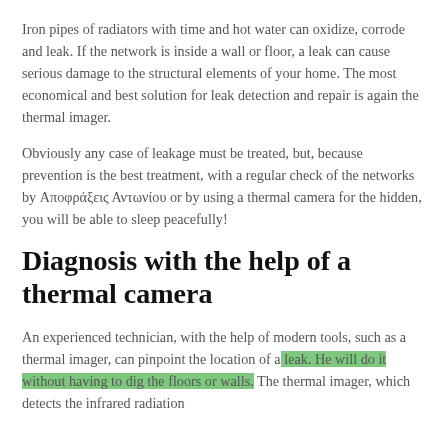Iron pipes of radiators with time and hot water can oxidize, corrode and leak. If the network is inside a wall or floor, a leak can cause serious damage to the structural elements of your home. The most economical and best solution for leak detection and repair is again the thermal imager.
Obviously any case of leakage must be treated, but, because prevention is the best treatment, with a regular check of the networks by Αποφράξεις Αντωνίου or by using a thermal camera for the hidden, you will be able to sleep peacefully!
Diagnosis with the help of a thermal camera
An experienced technician, with the help of modern tools, such as a thermal imager, can pinpoint the location of a leak. He will do it without having to dig the floors or walls. The thermal imager, which detects the infrared radiation